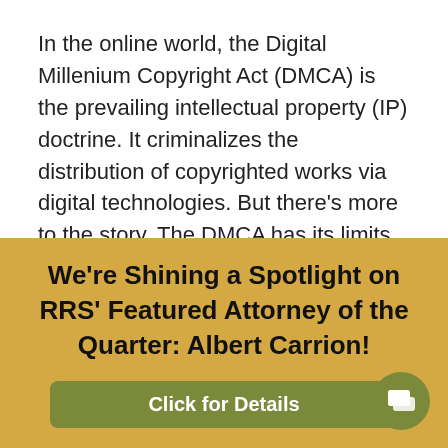In the online world, the Digital Millenium Copyright Act (DMCA) is the prevailing intellectual property (IP) doctrine. It criminalizes the distribution of copyrighted works via digital technologies. But there's more to the story. The DMCA has its limits. Fair use limits the reach of the copyright law and allows, in specific contexts, for the
We're Shining a Spotlight on RRS' Featured Attorney of the Quarter: Albert Carrion!
Click for Details